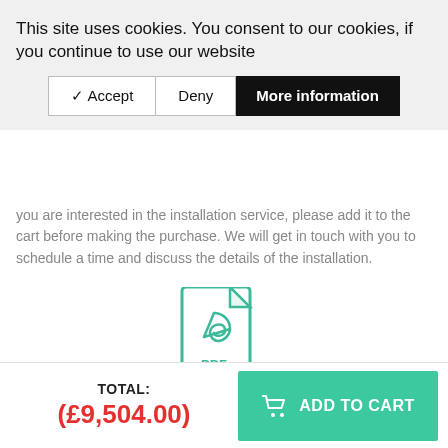This site uses cookies. You consent to our cookies, if you continue to use our website
✔ Accept | Deny | More information
you are interested in the installation service, please add it to the cart before making the purchase. We will get in touch with you to schedule a time and discuss the details of the installation.
[Figure (illustration): Teal/green PDF file icon with Adobe-style logo and 'PDF' text label]
DOWNLOAD GENERAL INSTALLATION INSTRUCTIONS AND ASSEMBLE THE PRODUCT YOURSELF
TOTAL: (£9,504.00)
ADD TO CART